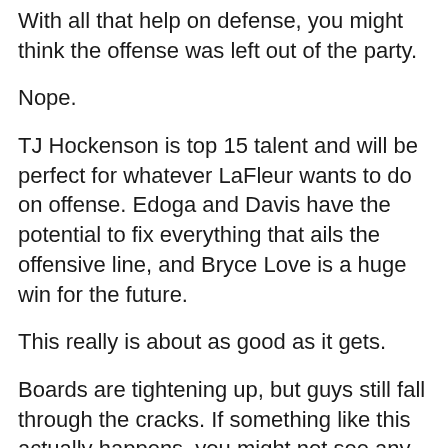With all that help on defense, you might think the offense was left out of the party.
Nope.
TJ Hockenson is top 15 talent and will be perfect for whatever LaFleur wants to do on offense. Edoga and Davis have the potential to fix everything that ails the offensive line, and Bryce Love is a huge win for the future.
This really is about as good as it gets.
Boards are tightening up, but guys still fall through the cracks. If something like this actually happens, you might not see any of my pst draft analysis because I could actually die.